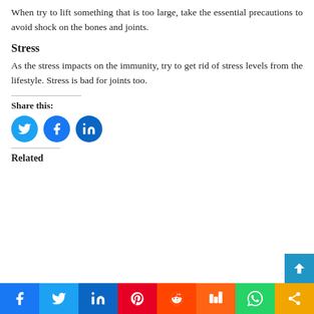When try to lift something that is too large, take the essential precautions to avoid shock on the bones and joints.
Stress
As the stress impacts on the immunity, try to get rid of stress levels from the lifestyle. Stress is bad for joints too.
Share this:
[Figure (infographic): Social share buttons: Twitter (blue circle), Facebook (blue circle), LinkedIn (blue circle)]
Related
[Figure (infographic): Bottom social sharing bar with icons for Facebook, Twitter, LinkedIn, Pinterest, Reddit, Mix, WhatsApp, and Share]